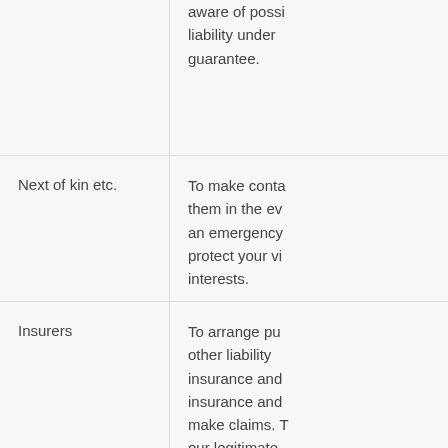aware of possible liability under guarantee.
Next of kin etc.
To make contact with them in the event of an emergency and to protect your vital interests.
Insurers
To arrange public and other liability insurance and employers' insurance and to make claims. To protect our legitimate interests and to insure against risk.